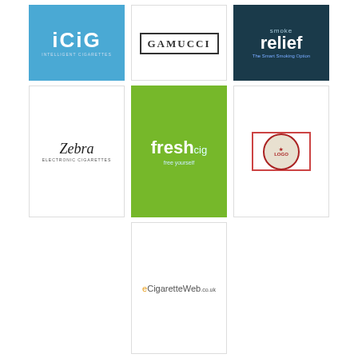[Figure (logo): iCIG Intelligent Cigarettes logo - blue background with white text]
[Figure (logo): GAMUCCI logo - serif text in bordered frame]
[Figure (logo): Smoke Relief - The Smart Smoking Option logo on dark teal background]
[Figure (logo): Zebra Electronic Cigarettes logo]
[Figure (logo): freshcig logo on green background]
[Figure (logo): circular branded logo with illustration]
[Figure (logo): eCigaretteWeb.co.uk logo]
POPULAR STORES
[Figure (logo): The co-operative pharmacy logo (partial)]
[Figure (logo): Chemist logo in orange text]
[Figure (logo): lock/pharmacy icon (partial)]